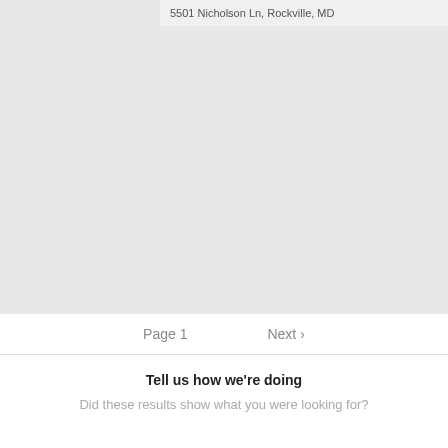5501 Nicholson Ln, Rockville, MD
[Figure (map): Gray placeholder map area showing a location view]
Page 1
Next ›
Tell us how we're doing
Did these results show what you were looking for?